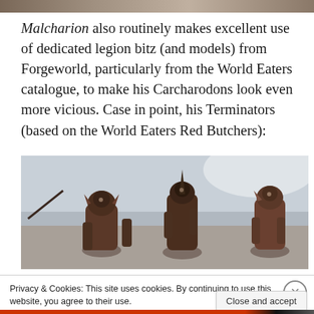[Figure (photo): Top cropped portion of a miniature figurine photo, partially visible at the very top of the page]
Malcharion also routinely makes excellent use of dedicated legion bitz (and models) from Forgeworld, particularly from the World Eaters catalogue, to make his Carcharodons look even more vicious. Case in point, his Terminators (based on the World Eaters Red Butchers):
[Figure (photo): Photo of painted Warhammer 40K Carcharodons Terminators miniatures, dark reddish-brown color scheme, based on World Eaters Red Butchers models, shown against a grey background]
Privacy & Cookies: This site uses cookies. By continuing to use this website, you agree to their use.
To find out more, including how to control cookies, see here: Cookie Policy